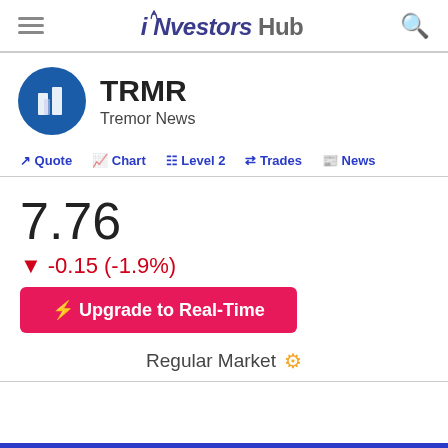iNvestorsHub
TRMR
Tremor News
Quote | Chart | Level 2 | Trades | News
7.76
-0.15 (-1.9%)
⚡ Upgrade to Real-Time
Regular Market ⚙